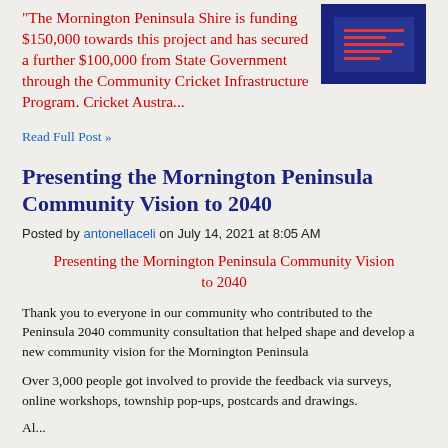"The Mornington Peninsula Shire is funding $150,000 towards this project and has secured a further $100,000 from State Government through the Community Cricket Infrastructure Program. Cricket Austra...
[Figure (illustration): Small dark blue thumbnail image with red horizontal lines, representing a document or article image]
Read Full Post »
Presenting the Mornington Peninsula Community Vision to 2040
Posted by antonellaceli on July 14, 2021 at 8:05 AM
Presenting the Mornington Peninsula Community Vision to 2040
Thank you to everyone in our community who contributed to the Peninsula 2040 community consultation that helped shape and develop a new community vision for the Mornington Peninsula
Over 3,000 people got involved to provide the feedback via surveys, online workshops, township pop-ups, postcards and drawings.
Al...
Read Full Post »